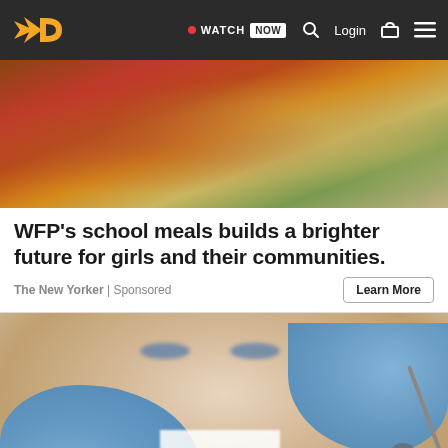Navigation bar with logo, WATCH NOW button, Search, Login, Cart, Menu
[Figure (photo): Photo of women sharing food, one in red clothing and one in patterned fabric]
WFP's school meals builds a brighter future for girls and their communities.
The New Yorker | Sponsored
Learn More
[Figure (photo): Photo of a young woman smiling at a dental examination, with dental tools and blue-gloved hands visible]